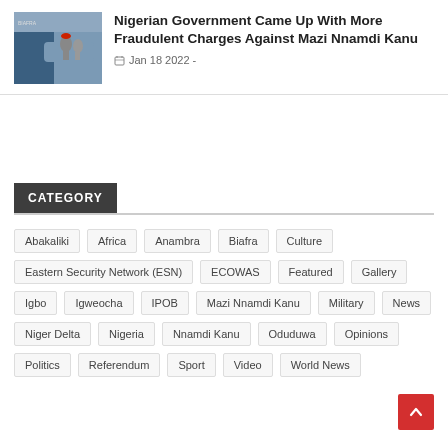[Figure (photo): Thumbnail image showing a person holding small figures, political/protest imagery]
Nigerian Government Came Up With More Fraudulent Charges Against Mazi Nnamdi Kanu
Jan 18 2022 -
CATEGORY
Abakaliki
Africa
Anambra
Biafra
Culture
Eastern Security Network (ESN)
ECOWAS
Featured
Gallery
Igbo
Igweocha
IPOB
Mazi Nnamdi Kanu
Military
News
Niger Delta
Nigeria
Nnamdi Kanu
Oduduwa
Opinions
Politics
Referendum
Sport
Video
World News